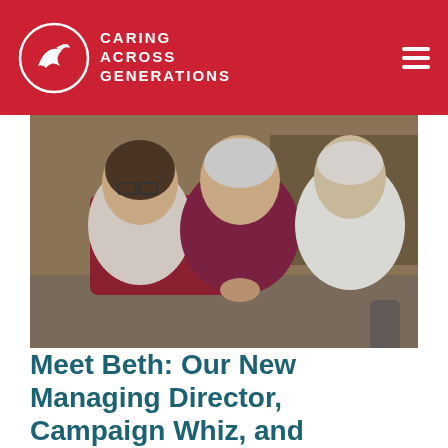[Figure (logo): Caring Across Generations logo: white circle with a bird silhouette and text 'CARING ACROSS GENERATIONS' beside it, on a red background header with a hamburger menu icon on the right]
[Figure (photo): Three people smiling together indoors: a younger woman with glasses on the left in a grey top, an elderly man in the center wearing a maroon sweater with clasped hands, and an older woman on the right in a white top]
Meet Beth: Our New Managing Director, Campaign Whiz, and